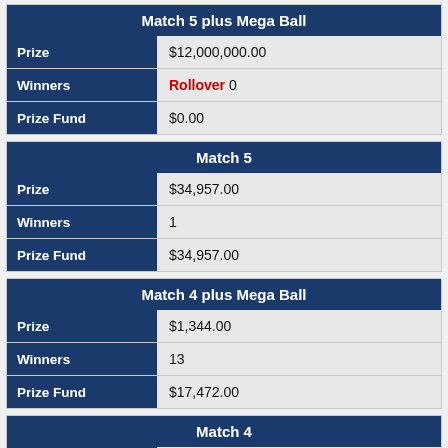Match 5 plus Mega Ball
|  |  |
| --- | --- |
| Prize | $12,000,000.00 |
| Winners | Rollover 0 |
| Prize Fund | $0.00 |
Match 5
|  |  |
| --- | --- |
| Prize | $34,957.00 |
| Winners | 1 |
| Prize Fund | $34,957.00 |
Match 4 plus Mega Ball
|  |  |
| --- | --- |
| Prize | $1,344.00 |
| Winners | 13 |
| Prize Fund | $17,472.00 |
Match 4
|  |  |
| --- | --- |
| Prize | $103.00 |